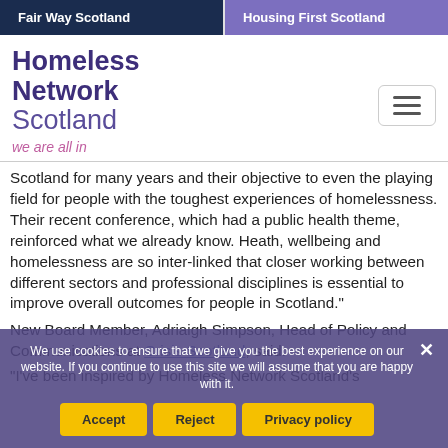Fair Way Scotland | Housing First Scotland
[Figure (logo): Homeless Network Scotland logo with tagline 'we are all in']
Scotland for many years and their objective to even the playing field for people with the toughest experiences of homelessness. Their recent conference, which had a public health theme, reinforced what we already know. Heath, wellbeing and homelessness are so inter-linked that closer working between different sectors and professional disciplines is essential to improve overall outcomes for people in Scotland.
New Board Member, Adriaigh Simpson, Head of Policy and Communications at Crisis Scotland, said:
"I've been inspired by Homeless Network Scotland's
We use cookies to ensure that we give you the best experience on our website. If you continue to use this site we will assume that you are happy with it.